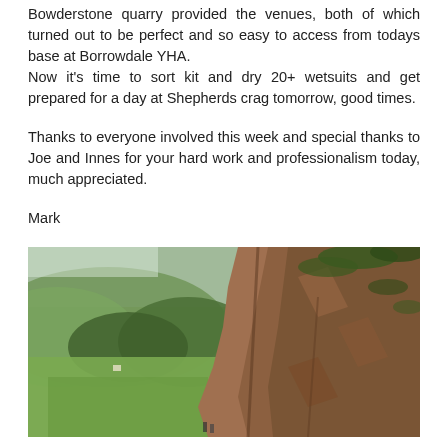Bowderstone quarry provided the venues, both of which turned out to be perfect and so easy to access from todays base at Borrowdale YHA.
Now it's time to sort kit and dry 20+ wetsuits and get prepared for a day at Shepherds crag tomorrow, good times.
Thanks to everyone involved this week and special thanks to Joe and Innes for your hard work and professionalism today, much appreciated.
Mark
[Figure (photo): Outdoor landscape photograph showing a rocky cliff face on the right side with green fields and wooded hillsides in the background on the left. The scene appears to be in a valley or fell area, likely the Lake District.]